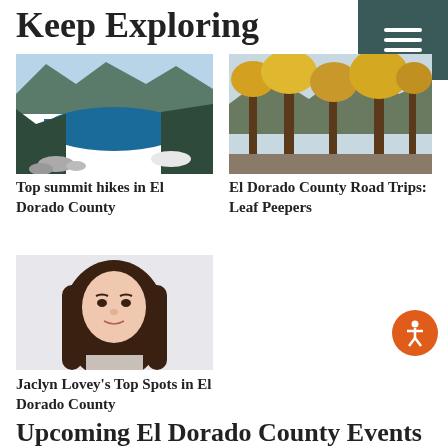Keep Exploring
[Figure (photo): Aerial view of a blue lake surrounded by forested mountains]
Top summit hikes in El Dorado County
[Figure (photo): Autumn forest trail with yellow trees and rocky path in mountains]
El Dorado County Road Trips: Leaf Peepers
[Figure (photo): Portrait of a young woman with long brown hair, Jaclyn Lovey]
Jaclyn Lovey's Top Spots in El Dorado County
Upcoming El Dorado County Events